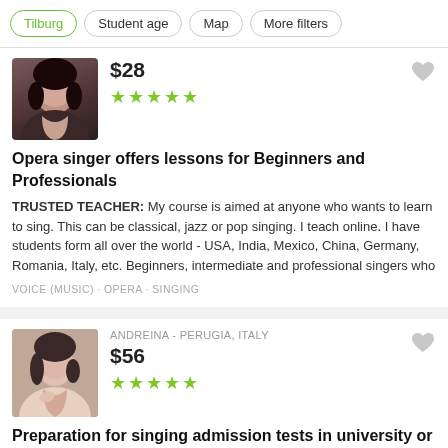Tilburg · Student age · Map · More filters
$28 ★★★★★
Opera singer offers lessons for Beginners and Professionals
TRUSTED TEACHER: My course is aimed at anyone who wants to learn to sing. This can be classical, jazz or pop singing. I teach online. I have students form all over the world - USA, India, Mexico, China, Germany, Romania, Italy, etc. Beginners, intermediate and professional singers who
VOICE (MUSIC) · OPERA · SINGING
ANDREINA - PERUGIA, ITALY
$56 ★★★★★
Preparation for singing admission tests in university or conservatory
TRUSTED TEACHER: I can help you prepare your program/ repertory to present in the admission test. With me, you are going to train your singing technique, breathing, mental preparation, diction and